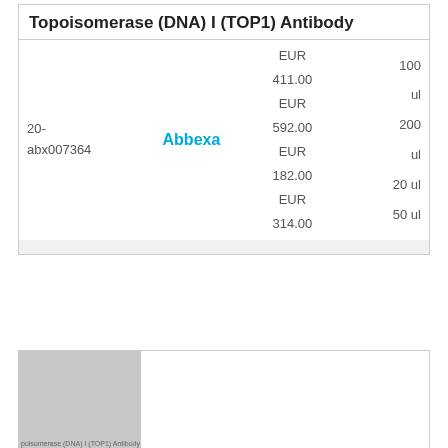Topoisomerase (DNA) I (TOP1) Antibody
| ID | Supplier | Price | Size |
| --- | --- | --- | --- |
| 20-abx007364 | Abbexa | EUR 411.00
EUR 592.00
EUR 182.00
EUR 314.00 | 100 ul
200 ul
20 ul
50 ul |
[Figure (photo): Thumbnail image of Topoisomerase (DNA) I (TOP1) Antibody product, shown as a gray placeholder with label text at the bottom left.]